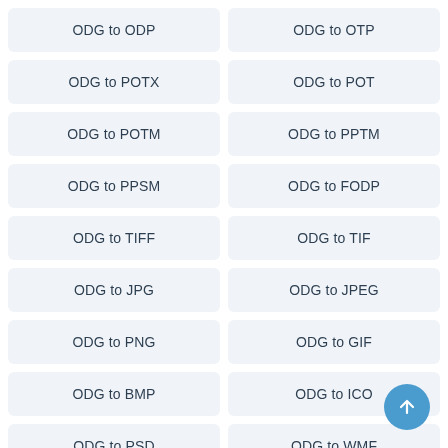ODG to ODP
ODG to OTP
ODG to POTX
ODG to POT
ODG to POTM
ODG to PPTM
ODG to PPSM
ODG to FODP
ODG to TIFF
ODG to TIF
ODG to JPG
ODG to JPEG
ODG to PNG
ODG to GIF
ODG to BMP
ODG to ICO
ODG to PSD
ODG to WMF